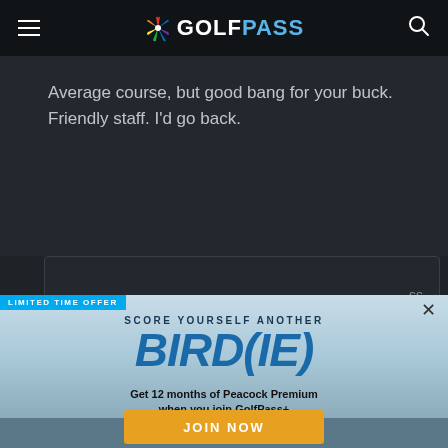GolfPass
Average course, but good bang for your buck. Friendly staff. I'd go back.
[Figure (screenshot): GolfPass promotional popup ad overlay. Limited time offer banner in blue. Text: SCORE YOURSELF ANOTHER BIRD(IE). Get 12 months of Peacock Premium when you join GolfPass+. GolfPass + Peacock logos. TV screenshot showing USGA golf content. JOIN NOW button in orange. Fine print: $4.99/mo w/o ad. Eligibility restrictions and terms apply.]
Helpful (0)